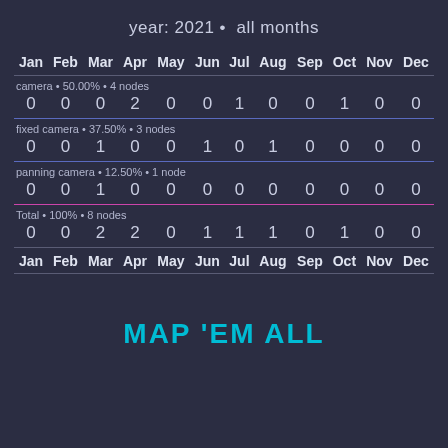year: 2021 • all months
| Jan | Feb | Mar | Apr | May | Jun | Jul | Aug | Sep | Oct | Nov | Dec |
| --- | --- | --- | --- | --- | --- | --- | --- | --- | --- | --- | --- |
| camera • 50.00% • 4 nodes |  |  |  |  |  |  |  |  |  |  |  |
| 0 | 0 | 0 | 2 | 0 | 0 | 1 | 0 | 0 | 1 | 0 | 0 |
| fixed camera • 37.50% • 3 nodes |  |  |  |  |  |  |  |  |  |  |  |
| 0 | 0 | 1 | 0 | 0 | 1 | 0 | 1 | 0 | 0 | 0 | 0 |
| panning camera • 12.50% • 1 node |  |  |  |  |  |  |  |  |  |  |  |
| 0 | 0 | 1 | 0 | 0 | 0 | 0 | 0 | 0 | 0 | 0 | 0 |
| Total • 100% • 8 nodes |  |  |  |  |  |  |  |  |  |  |  |
| 0 | 0 | 2 | 2 | 0 | 1 | 1 | 1 | 0 | 1 | 0 | 0 |
MAP 'EM ALL